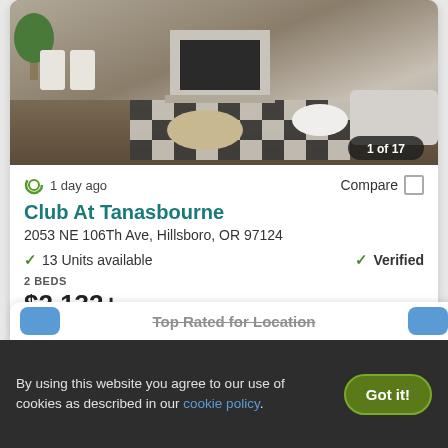[Figure (photo): Interior photo of a modern living/dining room with checkered rug, fireplace, round ottoman, and neutral furniture. Badge reads '1 of 17'.]
1 day ago
Compare
Club At Tanasbourne
2053 NE 106Th Ave, Hillsboro, OR 97124
13 Units available
Verified
2 BEDS
$2,132+
View Details
Contact Property
Top Rated for Location
By using this website you agree to our use of cookies as described in our cookie policy.
Got it!